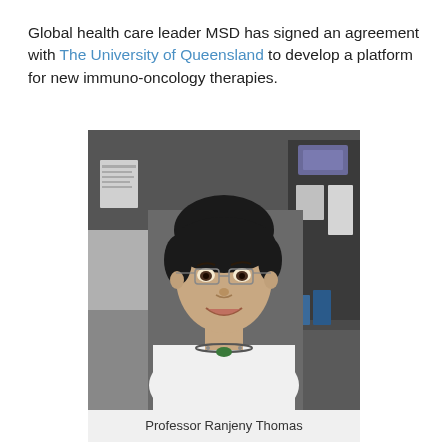Global health care leader MSD has signed an agreement with The University of Queensland to develop a platform for new immuno-oncology therapies.
[Figure (photo): Portrait photo of Professor Ranjeny Thomas in a laboratory setting, smiling, wearing glasses and a white top with a beaded necklace.]
Professor Ranjeny Thomas